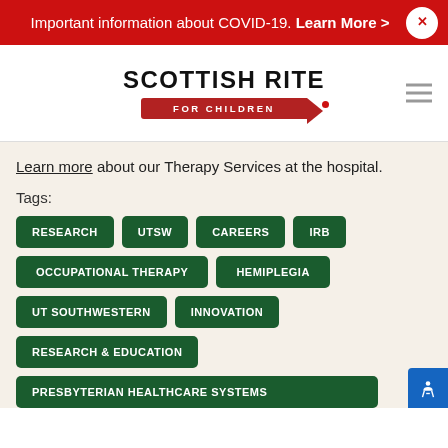Important information about COVID-19. Learn More >
[Figure (logo): Scottish Rite for Children logo with crayon graphic]
Learn more about our Therapy Services at the hospital.
Tags:
RESEARCH
UTSW
CAREERS
IRB
OCCUPATIONAL THERAPY
HEMIPLEGIA
UT SOUTHWESTERN
INNOVATION
RESEARCH & EDUCATION
PRESBYTERIAN HEALTHCARE SYSTEMS